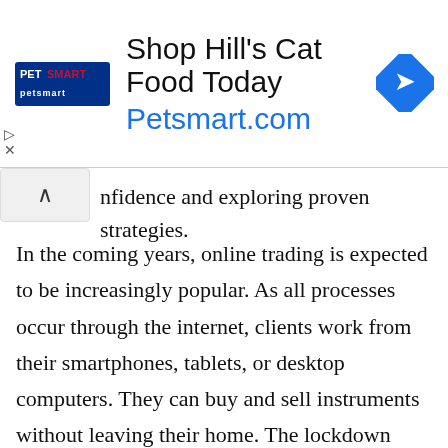[Figure (screenshot): PetSmart advertisement banner: 'Shop Hill's Cat Food Today – Petsmart.com' with PetSmart logo on left and blue diamond arrow icon on right]
…nfidence and exploring proven strategies.
In the coming years, online trading is expected to be increasingly popular. As all processes occur through the internet, clients work from their smartphones, tablets, or desktop computers. They can buy and sell instruments without leaving their home. The lockdown period allows millions to recognize the convenience of online trading.
We use cookies to optimize our website and our service.  Cookie Policy (US)  -  Privacy statement
Accept
[Figure (screenshot): Bottom strip with partial images: left side shows partial colorful image, right side shows 'PRACTICAL ELECTRONICS' text]